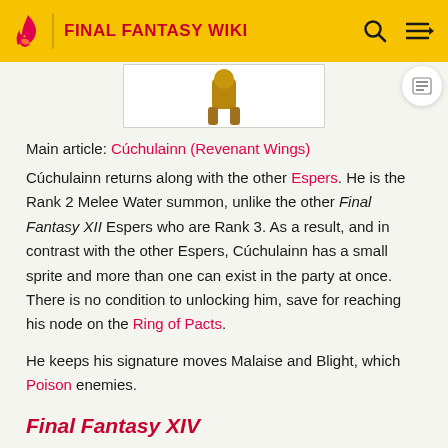FINAL FANTASY WIKI
[Figure (illustration): Partial image of a game character/summon (Cúchulainn) showing bottom portion, inside a white bordered box]
Main article: Cúchulainn (Revenant Wings)
Cúchulainn returns along with the other Espers. He is the Rank 2 Melee Water summon, unlike the other Final Fantasy XII Espers who are Rank 3. As a result, and in contrast with the other Espers, Cúchulainn has a small sprite and more than one can exist in the party at once. There is no condition to unlocking him, save for reaching his node on the Ring of Pacts.
He keeps his signature moves Malaise and Blight, which Poison enemies.
Final Fantasy XIV